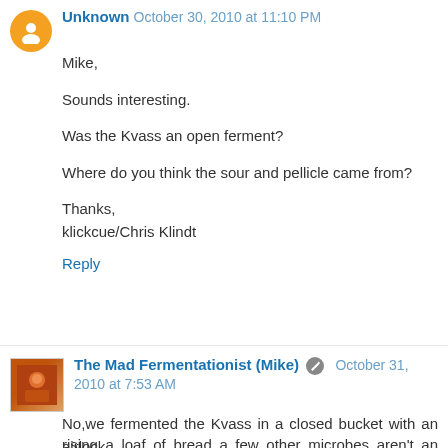Unknown October 30, 2010 at 11:10 PM
Mike,

Sounds interesting.

Was the Kvass an open ferment?

Where do you think the sour and pellicle came from?

Thanks,
klickcue/Chris Klindt
Reply
The Mad Fermentationist (Mike) October 31, 2010 at 7:53 AM
No,we fermented the Kvass in a closed bucket with an airlock.

I assume the infection came from the less than sterile conditions that bread yeast is dried under. When you are rising a loaf of bread a few other microbes aren't an issue...